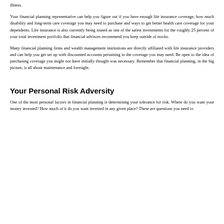illness.
Your financial planning representative can help you figure out if you have enough life insurance coverage, how much disability and long-term care coverage you may need to purchase and ways to get better health care coverage for your dependents. Life insurance is also currently being touted as one of the safest investments for the roughly 25 percent of your total investment portfolio that financial advisors recommend you keep outside of stocks.
Many financial planning firms and wealth management institutions are directly affiliated with life insurance providers and can help you get set up with discounted accounts pertaining to the coverage you may need. Be open to the idea of purchasing coverage you might not have initially thought was necessary. Remember that financial planning, in the big picture, is all about maintenance and foresight.
Your Personal Risk Adversity
One of the most personal factors in financial planning is determining your tolerance for risk. Where do you want your money invested? How much of it do you want invested in any given place? These are questions you need to